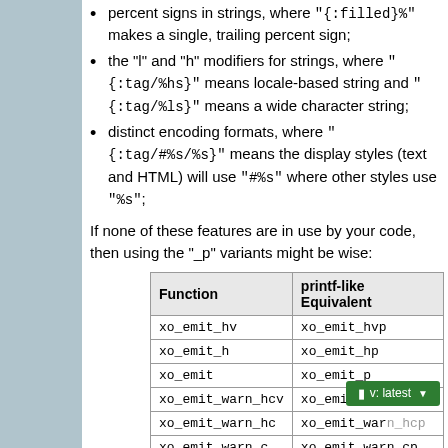percent signs in strings, where "{:filled}%" makes a single, trailing percent sign;
the "l" and "h" modifiers for strings, where "{:tag/%hs}" means locale-based string and "{:tag/%ls}" means a wide character string;
distinct encoding formats, where "{:tag/#%s/%s}" means the display styles (text and HTML) will use "#%s" where other styles use "%s";
If none of these features are in use by your code, then using the "_p" variants might be wise:
| Function | printf-like Equivalent |
| --- | --- |
| xo_emit_hv | xo_emit_hvp |
| xo_emit_h | xo_emit_hp |
| xo_emit | xo_emit_p |
| xo_emit_warn_hcv | xo_emit_warn_hcvp |
| xo_emit_warn_hc | xo_emit_warn_hc… |
| xo_emit_warn_c | xo_emit_warn_cp |
| xo_emit_warn | xo_emit_warn_p |